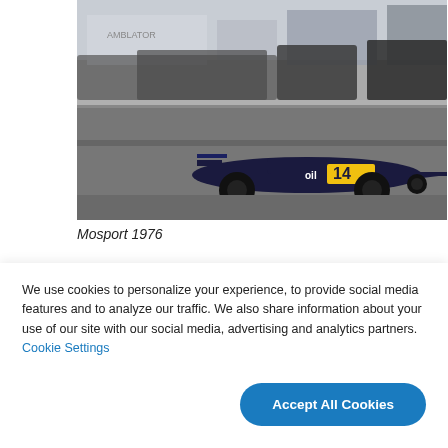[Figure (photo): Vintage Formula 1 racing car number 14 in dark blue/black livery on a race track at Mosport 1976, with pit lane buildings and vehicles visible in the background]
Mosport 1976
[Figure (photo): Partial view of a race event with crowd of spectators visible and race infrastructure in background, partially cropped]
We use cookies to personalize your experience, to provide social media features and to analyze our traffic. We also share information about your use of our site with our social media, advertising and analytics partners. Cookie Settings
Accept All Cookies